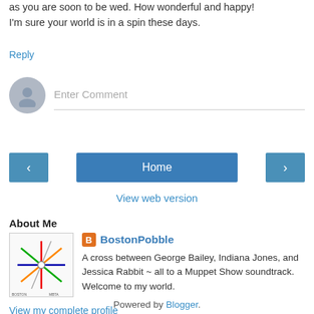as you are soon to be wed. How wonderful and happy! I'm sure your world is in a spin these days.
Reply
[Figure (other): Comment input field with user avatar placeholder (grey circle with person icon) and 'Enter Comment' placeholder text]
[Figure (other): Navigation buttons: left arrow button, Home button, right arrow button]
View web version
About Me
[Figure (other): Boston metro/transit map thumbnail image showing colored subway lines]
BostonPobble
A cross between George Bailey, Indiana Jones, and Jessica Rabbit ~ all to a Muppet Show soundtrack. Welcome to my world.
View my complete profile
Powered by Blogger.